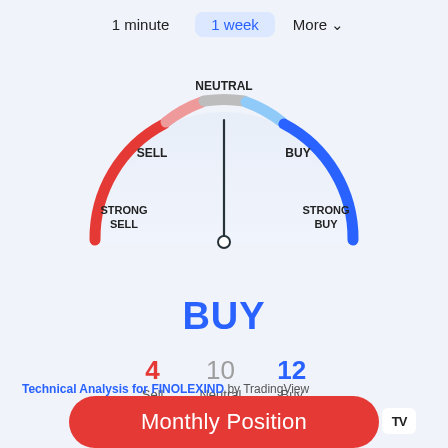1 minute   1 week   More
[Figure (other): Gauge/speedometer chart showing BUY signal for FINOLEXIND on 1 week timeframe. The needle points upward (neutral/slightly buy). Left arc is red (SELL/STRONG SELL), top arc is gray (NEUTRAL), right arc is blue (BUY/STRONG BUY). Labels: STRONG SELL (bottom left), SELL (left), NEUTRAL (top center), BUY (right), STRONG BUY (bottom right).]
BUY
4
Sell
10
Neutral
12
Buy
Technical Analysis for FINOLEXIND by TradingView
Monthly Position